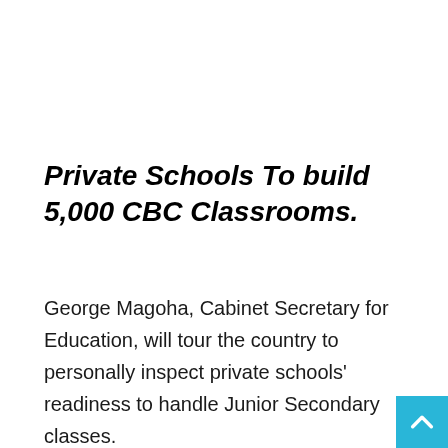Private Schools To build 5,000 CBC Classrooms.
George Magoha, Cabinet Secretary for Education, will tour the country to personally inspect private schools' readiness to handle Junior Secondary classes.